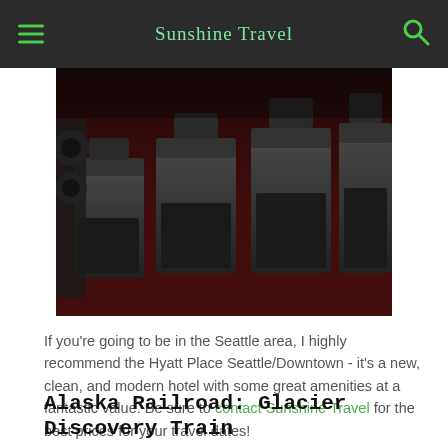Sunshine Travel
[Figure (photo): Interior gym photo showing treadmills on dark red carpet flooring, partial view of exercise equipment in background]
If you're going to be in the Seattle area, I highly recommend the Hyatt Place Seattle/Downtown - it's a new, clean, and modern hotel with some great amenities at a fantastic value. Be sure to contact Sunshine Travel for the best prices for your travel dates!
Alaska Railroad: Glacier Discovery Train